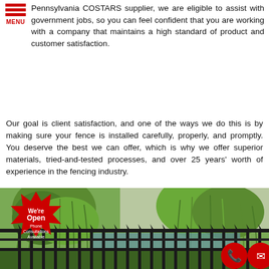[Figure (logo): Red hamburger menu icon with three horizontal bars and MENU label in red]
Pennsylvania COSTARS supplier, we are eligible to assist with government jobs, so you can feel confident that you are working with a company that maintains a high standard of product and customer satisfaction.
Our goal is client satisfaction, and one of the ways we do this is by making sure your fence is installed carefully, properly, and promptly. You deserve the best we can offer, which is why we offer superior materials, tried-and-tested processes, and over 25 years' worth of experience in the fencing industry.
[Figure (photo): Outdoor photo showing black metal fence/railing in foreground with large weeping willow trees and a building in the background. A red starburst badge reads 'We're Open Phone Consultations Available'. Two red circular icons for phone and email are in the bottom right.]